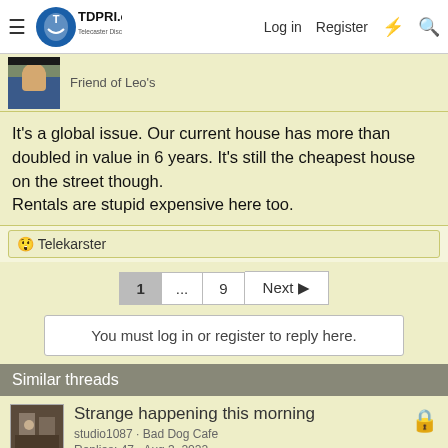TDPRI.com Telecaster Discussion Page Reissue | Log in | Register
Friend of Leo's
It's a global issue. Our current house has more than doubled in value in 6 years. It's still the cheapest house on the street though.
Rentals are stupid expensive here too.
😲 Telekarster
1 ... 9 Next ▶
You must log in or register to reply here.
Similar threads
Strange happening this morning
studio1087 · Bad Dog Cafe
Replies: 47 · Aug 3, 2022